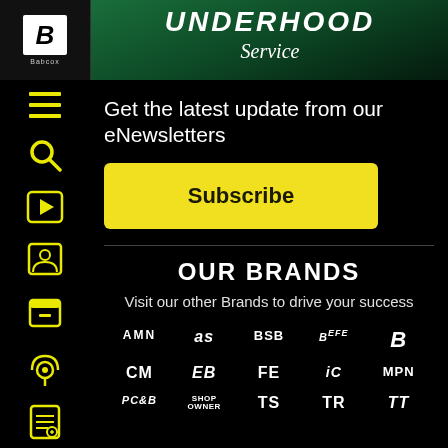UNDERHOOD Service — Babcox
Get the latest update from our eNewsletters
Subscribe
OUR BRANDS
Visit our other Brands to drive your success
[Figure (logo): Brand logos grid: AMN, as, BSB, BeFE, B (bold italic), CM, EB (italic), FE, iC, MPN, PC&B, SHOP OWNER, TS, TR, TT]